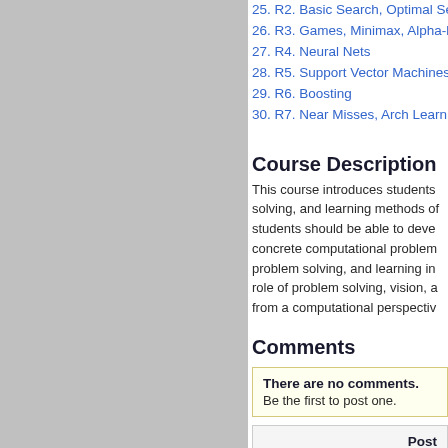25. R2. Basic Search, Optimal Se...
26. R3. Games, Minimax, Alpha-b...
27. R4. Neural Nets
28. R5. Support Vector Machines...
29. R6. Boosting
30. R7. Near Misses, Arch Learn...
Course Description
This course introduces students to the solving, and learning methods of... students should be able to deve... concrete computational problem... problem solving, and learning in... role of problem solving, vision, a... from a computational perspectiv...
Comments
There are no comments. Be the first to post one.
Post Click t...